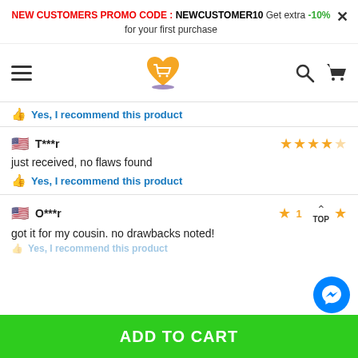NEW CUSTOMERS PROMO CODE : NEWCUSTOMER10 Get extra -10% for your first purchase
[Figure (screenshot): E-commerce website navigation bar with hamburger menu, shopping cart logo, search icon, and cart icon]
Yes, I recommend this product
T***r — 4 stars — just received, no flaws found — Yes, I recommend this product
O***r — 1 star — got it for my cousin. no drawbacks noted!
ADD TO CART